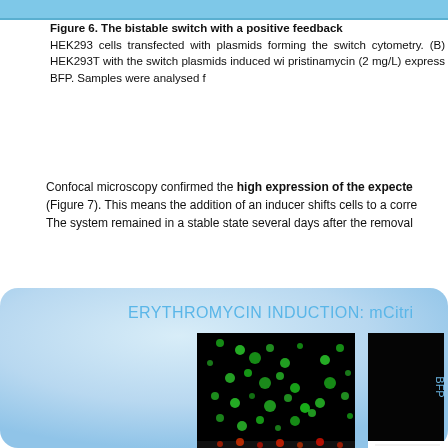Figure 6. The bistable switch with a positive feedback HEK293 cells transfected with plasmids forming the switch cytometry. (B) HEK293T with the switch plasmids induced wi pristinamycin (2 mg/L) express BFP. Samples were analysed f
Confocal microscopy confirmed the high expression of the expecte (Figure 7). This means the addition of an inducer shifts cells to a corre The system remained in a stable state several days after the removal
[Figure (photo): Blue panel showing erythromycin induction section with mCitrine label on left and BFP label on right. Contains fluorescence microscopy images: green fluorescent cells image (mCitrine channel), black image (BFP channel, no signal), red fluorescent cells image (bottom left), and a FACS dot plot (bottom right). Panel header reads 'ERYTHROMYCIN INDUCTION: mCitri']